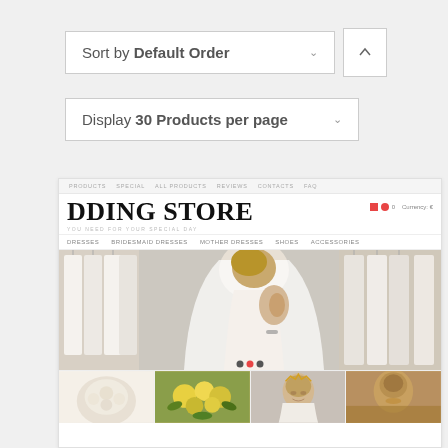Sort by Default Order
Display 30 Products per page
[Figure (screenshot): Screenshot of a wedding store e-commerce website showing navigation bar with PRODUCTS, SPECIAL, ALL PRODUCTS, REVIEWS, CONTACTS, FAQ links, large bold 'DDING STORE' heading (WEDDING STORE partially visible), subtitle 'YOU NEED FOR YOUR SPECIAL DAY', category menu with DRESSES, BRIDESMAID DRESSES, MOTHER DRESSES, SHOES, ACCESSORIES, a hero image of a blonde bride from behind wearing a veil and white dress among hanging wedding dresses, slider dots below the hero image, and a product grid row at the bottom with four partial product images.]